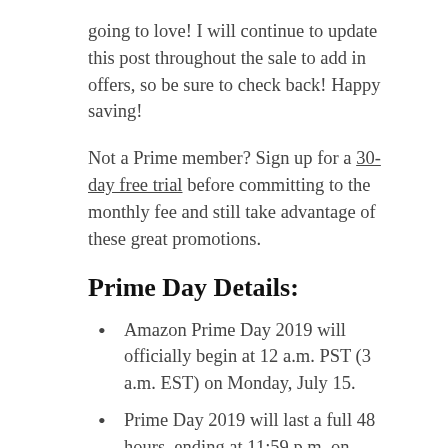going to love! I will continue to update this post throughout the sale to add in offers, so be sure to check back! Happy saving!
Not a Prime member? Sign up for a 30-day free trial before committing to the monthly fee and still take advantage of these great promotions.
Prime Day Details:
Amazon Prime Day 2019 will officially begin at 12 a.m. PST (3 a.m. EST) on Monday, July 15.
Prime Day 2019 will last a full 48 hours, ending at 11:59 p.m. on Tuesday, July 16.
Prime Day Whole Foods deals and Prime Day Twitch deals have already started.